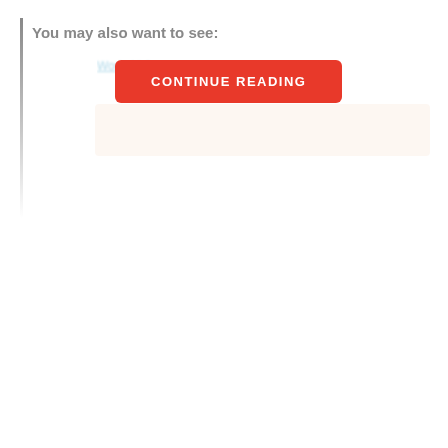You may also want to see:
Worl[...phic]
[Figure (screenshot): A red 'CONTINUE READING' button overlaying partially blurred/hidden link text and a light pink/cream content box below]